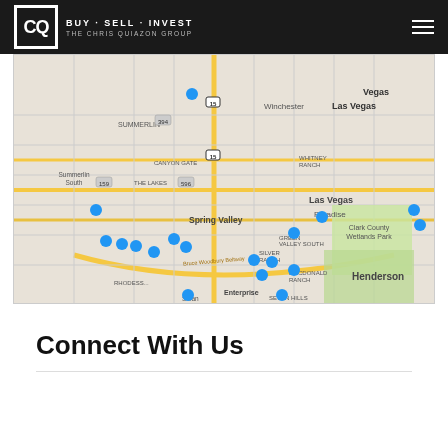CQ BUY · SELL · INVEST THE CHRIS QUIAZON GROUP
[Figure (map): Google map of the Las Vegas, Nevada area including Spring Valley, Paradise, Henderson, Summerlin, Enterprise showing multiple blue location pins marking property listings.]
Connect With Us